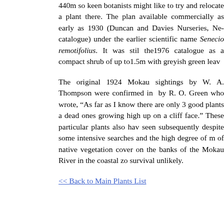440m so keen botanists might like to try and relocate a plant there. The plant was available commercially as early as 1930 (Duncan and Davies Nurseries, New Zealand catalogue) under the earlier scientific name Senecio remotifolius. It was still listed in the1976 catalogue as a compact shrub of up to1.5m with greyish green leaves.
The original 1924 Mokau sightings by W. A. Thompson were confirmed in October by R. O. Green who wrote, “As far as I know there are only 3 good plants and 2 dead ones growing high up on a cliff face.” These particular plants also have not been seen subsequently despite some intensive searches and the high degree of modification of native vegetation cover on the banks of the Mokau River in the coastal zone makes survival unlikely.
<< Back to Main Plants List